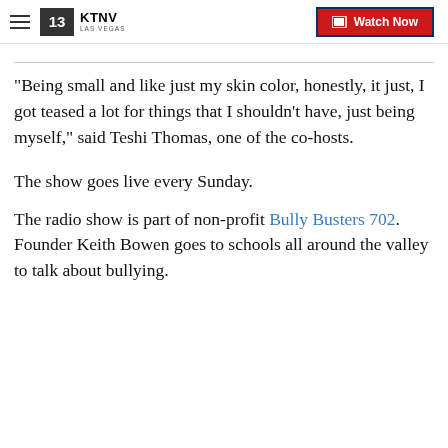KTNV LAS VEGAS | Watch Now
"Being small and like just my skin color, honestly, it just, I got teased a lot for things that I shouldn't have, just being myself," said Teshi Thomas, one of the co-hosts.
The show goes live every Sunday.
The radio show is part of non-profit Bully Busters 702. Founder Keith Bowen goes to schools all around the valley to talk about bullying.